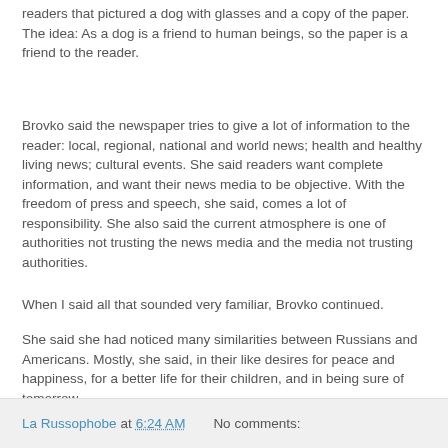readers that pictured a dog with glasses and a copy of the paper. The idea: As a dog is a friend to human beings, so the paper is a friend to the reader.
Brovko said the newspaper tries to give a lot of information to the reader: local, regional, national and world news; health and healthy living news; cultural events. She said readers want complete information, and want their news media to be objective. With the freedom of press and speech, she said, comes a lot of responsibility. She also said the current atmosphere is one of authorities not trusting the news media and the media not trusting authorities.
When I said all that sounded very familiar, Brovko continued.
She said she had noticed many similarities between Russians and Americans. Mostly, she said, in their like desires for peace and happiness, for a better life for their children, and in being sure of tomorrow.
La Russophobe at 6:24 AM   No comments: